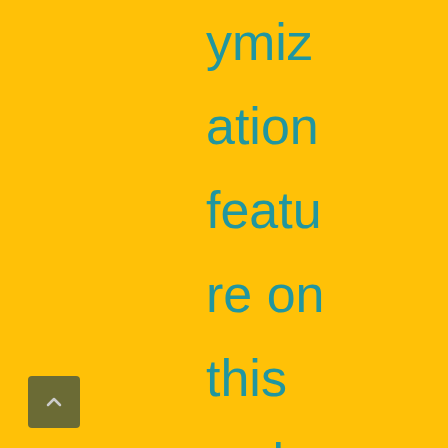ymization feature on this website. Your IP address will
[Figure (other): Scroll to top button - small square button with an upward chevron arrow icon]